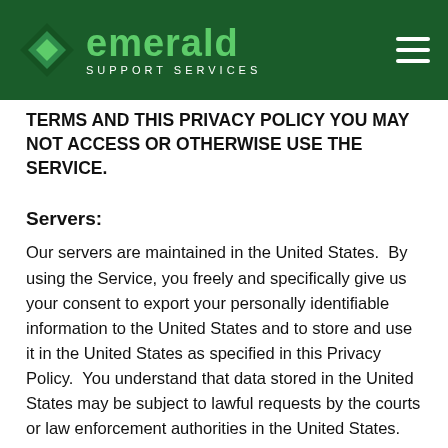[Figure (logo): Emerald Support Services logo with diamond icon on dark green header background, hamburger menu icon on the right]
TERMS AND THIS PRIVACY POLICY YOU MAY NOT ACCESS OR OTHERWISE USE THE SERVICE.
Servers:
Our servers are maintained in the United States.  By using the Service, you freely and specifically give us your consent to export your personally identifiable information to the United States and to store and use it in the United States as specified in this Privacy Policy.  You understand that data stored in the United States may be subject to lawful requests by the courts or law enforcement authorities in the United States.